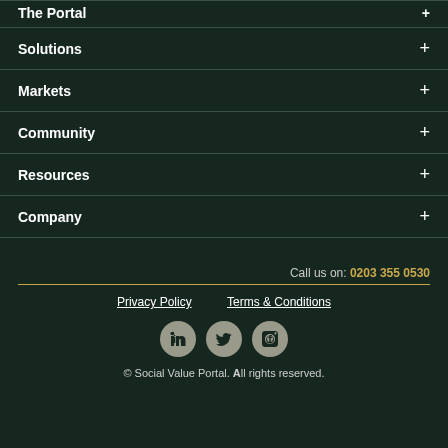The Portal +
Solutions +
Markets +
Community +
Resources +
Company +
Call us on: 0203 355 0530
Privacy Policy   Terms & Conditions
[Figure (other): Social media icons: LinkedIn, Twitter, Facebook]
© Social Value Portal. All rights reserved.